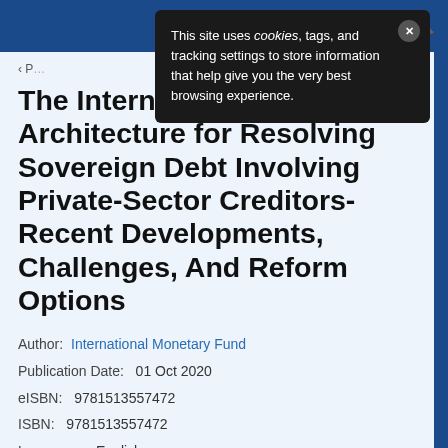Navigation bar with menu and search icons
This site uses cookies, tags, and tracking settings to store information that help give you the very best browsing experience.
The International Architecture for Resolving Sovereign Debt Involving Private-Sector Creditors-Recent Developments, Challenges, And Reform Options
Author: International Monetary Fund
Publication Date:  01 Oct 2020
eISBN:  9781513557472
ISBN:  9781513557472
Language:  English